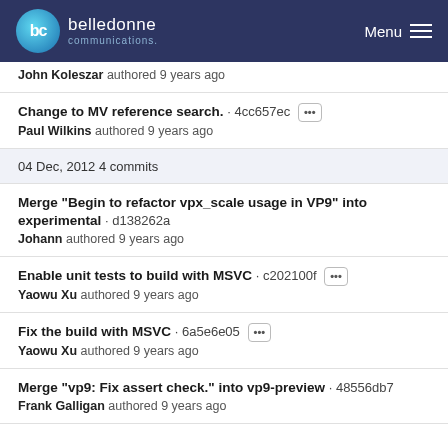belledonne communications — Menu
John Koleszar authored 9 years ago
Change to MV reference search. · 4cc657ec ···
Paul Wilkins authored 9 years ago
04 Dec, 2012 4 commits
Merge "Begin to refactor vpx_scale usage in VP9" into experimental · d138262a
Johann authored 9 years ago
Enable unit tests to build with MSVC · c202100f ···
Yaowu Xu authored 9 years ago
Fix the build with MSVC · 6a5e6e05 ···
Yaowu Xu authored 9 years ago
Merge "vp9: Fix assert check." into vp9-preview · 48556db7
Frank Galligan authored 9 years ago